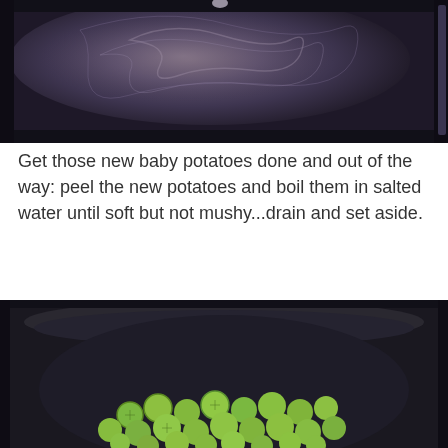[Figure (photo): Top-down view of a dark/black empty non-stick pan or wok with swirling water residue marks inside]
Get those new baby potatoes done and out of the way: peel the new potatoes and boil them in salted water until soft but not mushy...drain and set aside.
[Figure (photo): Top-down view of a black pot filled with many small green Brussels sprouts or baby potatoes in water]